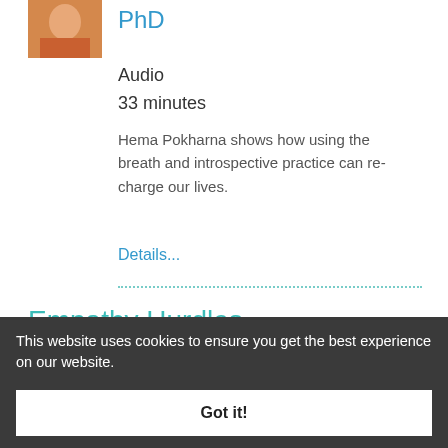[Figure (photo): Small portrait photo of a woman, cropped at top]
PhD
Audio
33 minutes
Hema Pokharna shows how using the breath and introspective practice can re-charge our lives.
Details...
Empathy Hurdles
[Figure (photo): Portrait photo of a woman with glasses, Miki Kashtan]
with Miki Kashtan
Article
2 pages
This website uses cookies to ensure you get the best experience on our website.
Got it!